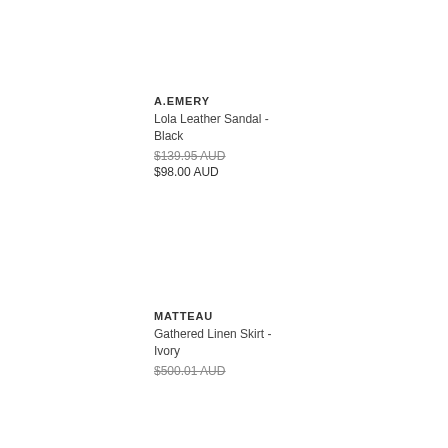A.EMERY
Lola Leather Sandal - Black
$139.95 AUD
$98.00 AUD
MATTEAU
Gathered Linen Skirt - Ivory
$500.01 AUD